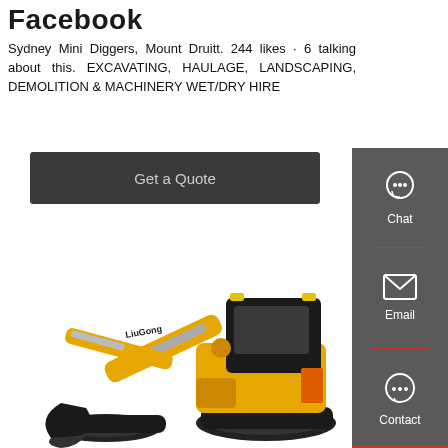Facebook
Sydney Mini Diggers, Mount Druitt. 244 likes · 6 talking about this. EXCAVATING, HAULAGE, LANDSCAPING, DEMOLITION & MACHINERY WET/DRY HIRE
[Figure (screenshot): Get a Quote button - dark grey rectangular button with light text]
[Figure (photo): LiuGong yellow mini excavator / digger on white background]
[Figure (infographic): Right sidebar with Chat, Email, and Contact icons on dark grey background]